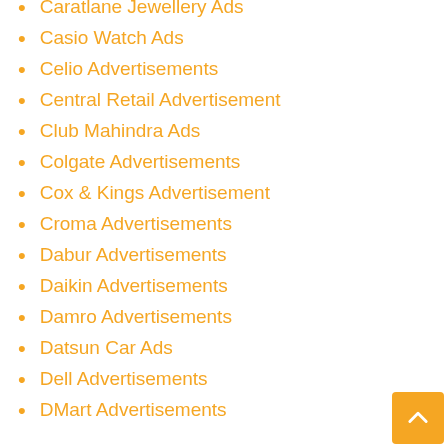Caratlane Jewellery Ads
Casio Watch Ads
Celio Advertisements
Central Retail Advertisement
Club Mahindra Ads
Colgate Advertisements
Cox & Kings Advertisement
Croma Advertisements
Dabur Advertisements
Daikin Advertisements
Damro Advertisements
Datsun Car Ads
Dell Advertisements
DMart Advertisements